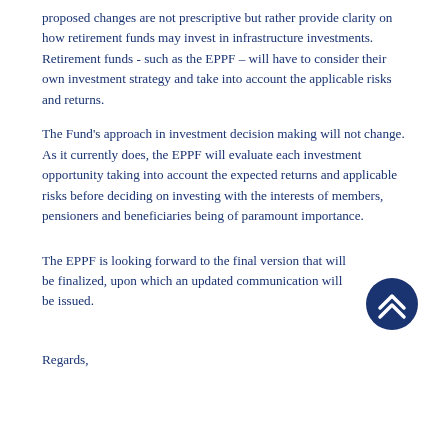proposed changes are not prescriptive but rather provide clarity on how retirement funds may invest in infrastructure investments. Retirement funds - such as the EPPF – will have to consider their own investment strategy and take into account the applicable risks and returns.
The Fund's approach in investment decision making will not change. As it currently does, the EPPF will evaluate each investment opportunity taking into account the expected returns and applicable risks before deciding on investing with the interests of members, pensioners and beneficiaries being of paramount importance.
The EPPF is looking forward to the final version that will be finalized, upon which an updated communication will be issued.
[Figure (other): Dark blue circular button with double upward chevron arrows (scroll-to-top button)]
Regards,